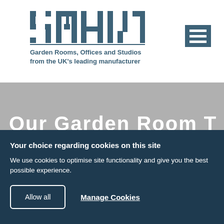[Figure (logo): SMART logo — stylized text 'SMART' in steel blue with horizontal notches in letters, underlined. Below: 'Garden Rooms, Offices and Studios from the UK's leading manufacturer' in bold steel blue. Hamburger menu icon (three horizontal bars) in a steel blue square on the right.]
[Figure (screenshot): Gray band section partially showing large white bold text at the bottom edge]
Your choice regarding cookies on this site
We use cookies to optimise site functionality and give you the best possible experience.
Allow all
Manage Cookies